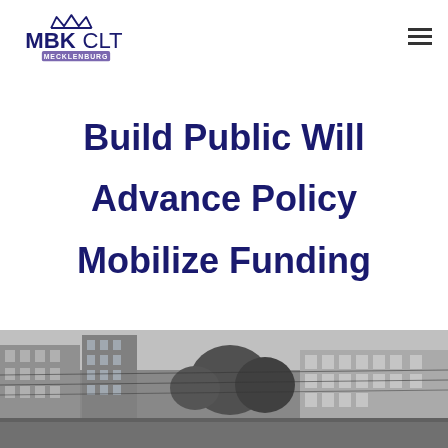[Figure (logo): MBKCLT Mecklenburg logo with crown icon and purple/blue text]
Build Public Will
Advance Policy
Mobilize Funding
[Figure (photo): Black and white street photo of an urban city scene with buildings and trees]